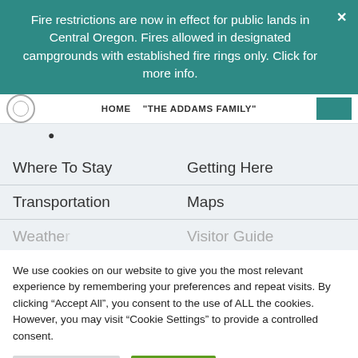Fire restrictions are now in effect for public lands in Central Oregon. Fires allowed in designated campgrounds with established fire rings only. Click for more info.
HOME  "THE ADDAMS FAMILY"
·
Where To Stay
Getting Here
Transportation
Maps
Weather
Visitor Guide
We use cookies on our website to give you the most relevant experience by remembering your preferences and repeat visits. By clicking "Accept All", you consent to the use of ALL the cookies. However, you may visit "Cookie Settings" to provide a controlled consent.
Cookie Settings    Accept All